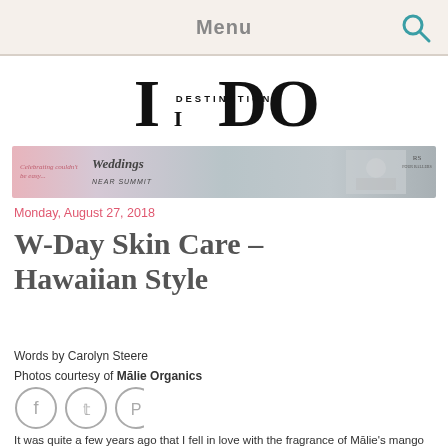Menu
[Figure (logo): Destination I Do magazine logo — large stylized 'I DO' text with 'DESTINATION' in smaller caps between the letters]
[Figure (photo): Banner advertisement for Weddings Near Summit — showing wedding couple, text 'Celebrating couldn't be easy... Weddings NEAR SUMMIT' with hotel branding]
Monday, August 27, 2018
W-Day Skin Care – Hawaiian Style
Words by Carolyn Steere
Photos courtesy of Mālie Organics
[Figure (illustration): Social sharing icons: Facebook, Twitter, Pinterest circles]
It was quite a few years ago that I fell in love with the fragrance of Mālie's mango nectar body cream. Our resort in Kauai blessed us with Mālie bath amenities